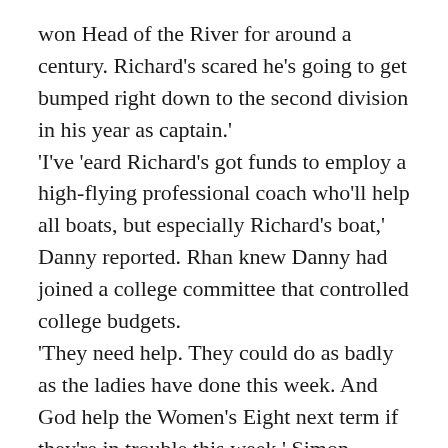won Head of the River for around a century. Richard's scared he's going to get bumped right down to the second division in his year as captain.' 'I've 'eard Richard's got funds to employ a high-flying professional coach who'll help all boats, but especially Richard's boat,' Danny reported. Rhan knew Danny had joined a college committee that controlled college budgets. 'They need help. They could do as badly as the ladies have done this week. And God help the Women's Eight next term if they're in trouble this week,' Simon suggested quietly. 'The women's crew obviously needed your help after all, Rhan!' George suggested. After three